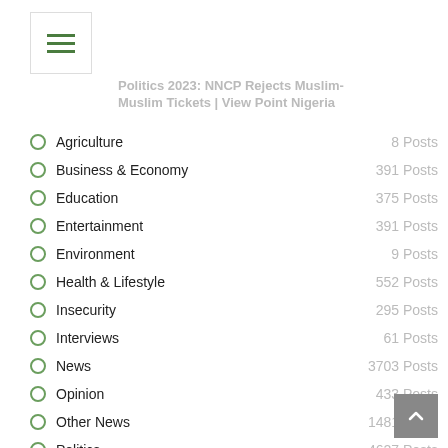[Figure (other): Hamburger menu button with three green horizontal lines in a white bordered box]
Politics 2023: NNCP Rejects Muslim-Muslim Tickets | View Point Nigeria
Agriculture — 8 Posts
Business & Economy — 391 Posts
Education — 375 Posts
Entertainment — 391 Posts
Environment — 9 Posts
Health & Lifestyle — 552 Posts
Insecurity — 295 Posts
Interviews — 61 Posts
News — 3703 Posts
Opinion — 433 Posts
Other News — 1481 Posts
Politics — 4627 Posts
Press Release — 520 Posts
Sports — 189 Posts
Technology — 60 Posts
Tourism — 6 Posts
Videos — 1 Posts
World News — 107 Posts